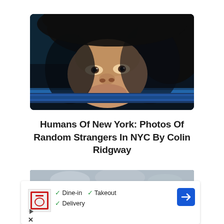[Figure (photo): Close-up photo of an elderly Asian person's face peering upward through a bus or train window, dark background, dramatic lighting, dark fur hat]
Humans Of New York: Photos Of Random Strangers In NYC By Colin Ridgway
[Figure (photo): Partially visible second photo showing a grey cloudy sky]
[Figure (other): Advertisement overlay with a restaurant icon (red circle with bar), checkmarks for Dine-in, Takeout, and Delivery, and a blue navigation arrow icon]